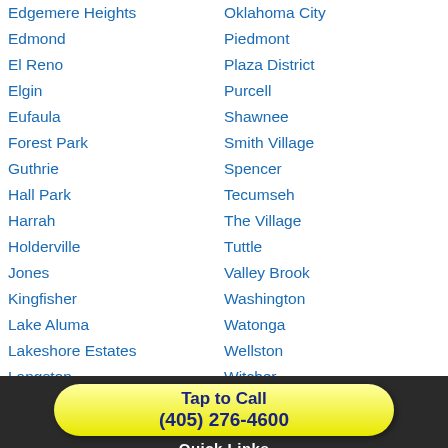Edgemere Heights
Edmond
El Reno
Elgin
Eufaula
Forest Park
Guthrie
Hall Park
Harrah
Holderville
Jones
Kingfisher
Lake Aluma
Lakeshore Estates
Langston
Lindsay
Luther
Macomb
Mc...
Oklahoma City
Piedmont
Plaza District
Purcell
Shawnee
Smith Village
Spencer
Tecumseh
The Village
Tuttle
Valley Brook
Washington
Watonga
Wellston
Witcher
Woodlawn Park
Woodward
Yukon
Tap to Call
(405) 276-4600
Quick Links